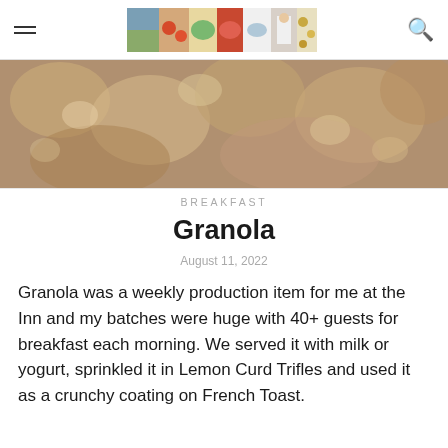Navigation header with hamburger menu, food blog banner image, and search icon
[Figure (photo): Close-up blurred food photo banner showing granola or baked goods in warm brown tones]
BREAKFAST
Granola
August 11, 2022
Granola was a weekly production item for me at the Inn and my batches were huge with 40+ guests for breakfast each morning. We served it with milk or yogurt, sprinkled it in Lemon Curd Trifles and used it as a crunchy coating on French Toast.